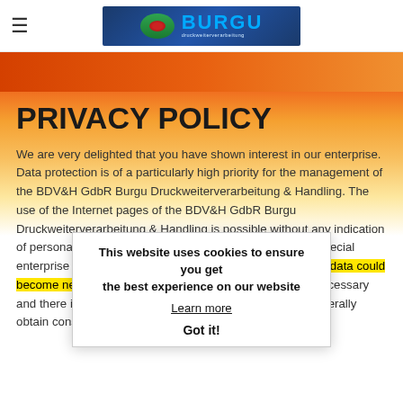BURGU Druckweiterverarbeitung
PRIVACY POLICY
We are very delighted that you have shown interest in our enterprise. Data protection is of a particularly high priority for the management of the BDV&H GdbR Burgu Druckweiterverarbeitung & Handling. The use of the Internet pages of the BDV&H GdbR Burgu Druckweiterverarbeitung & Handling is possible without any indication of personal data; however, if a data subject wants to use special enterprise services via our website, processing of personal data could become necessary. If the processing of personal data is necessary and there is no statutory basis for such processing, we generally obtain consent from the data subject.
This website uses cookies to ensure you get the best experience on our website
Learn more
Got it!